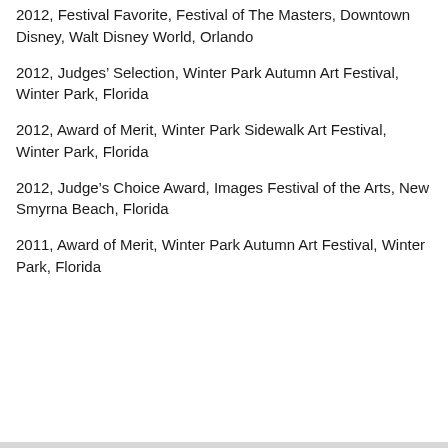2012, Festival Favorite, Festival of The Masters, Downtown Disney, Walt Disney World, Orlando
2012, Judges’ Selection, Winter Park Autumn Art Festival, Winter Park, Florida
2012, Award of Merit, Winter Park Sidewalk Art Festival, Winter Park, Florida
2012, Judge’s Choice Award, Images Festival of the Arts, New Smyrna Beach, Florida
2011, Award of Merit, Winter Park Autumn Art Festival, Winter Park, Florida